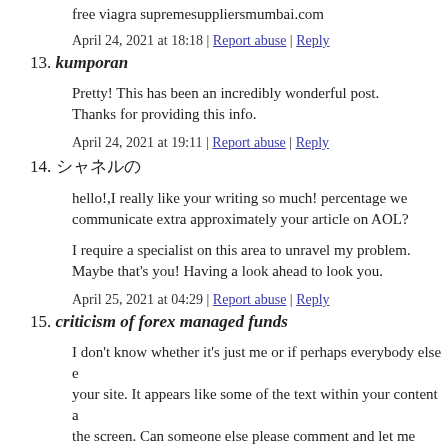free viagra supremesuppliersmumbai.com
April 24, 2021 at 18:18 | Report abuse | Reply
13. kumporan
Pretty! This has been an incredibly wonderful post. Thanks for providing this info.
April 24, 2021 at 19:11 | Report abuse | Reply
14. [unicode characters]
hello!,I really like your writing so much! percentage we communicate extra approximately your article on AOL?
I require a specialist on this area to unravel my problem. Maybe that's you! Having a look ahead to look you.
April 25, 2021 at 04:29 | Report abuse | Reply
15. criticism of forex managed funds
I don't know whether it's just me or if perhaps everybody else e your site. It appears like some of the text within your content a the screen. Can someone else please comment and let me know too? This may be a issue with my internet browser because I've had this happen before. Kudos